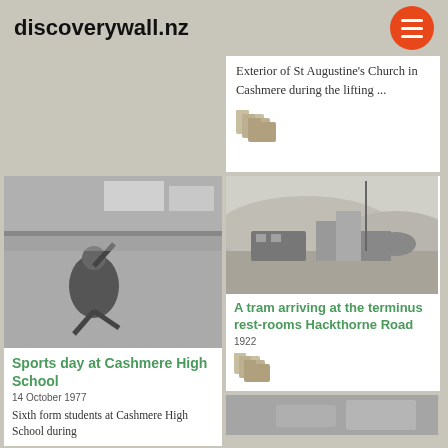discoverywall.nz
Exterior of St Augustine's Church in Cashmere during the lifting ...
[Figure (photo): Black and white photo of sports day at Cashmere High School showing a student performing a jump]
Sports day at Cashmere High School
14 October 1977
Sixth form students at Cashmere High School during a sports day
[Figure (photo): Black and white historical photo of a tram arriving at a terminus with buildings in background]
A tram arriving at the terminus rest-rooms Hackthorne Road
1922
[Figure (photo): Partial black and white photo visible at bottom right]